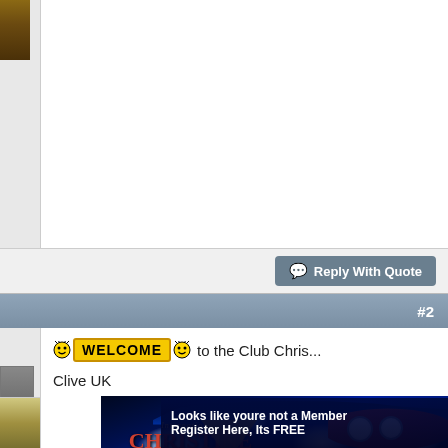[Figure (screenshot): Top portion of a forum post with a user avatar thumbnail on the left and white post content area on the right (content mostly blank/cut off at top)]
Reply With Quote
#2
[Figure (illustration): Welcome graphic with smiley face icons and yellow WELCOME banner text]
to the Club Chris...
Clive UK
[Figure (illustration): International Christine Club banner image showing a dark blue backdrop with a menacing red car character (Cars-style) with glowing headlights, the Christine Club logo with chevron, and text 'Looks like youre not a Member Register Here, Its FREE']
Looks like youre not a Member Register Here, Its FREE